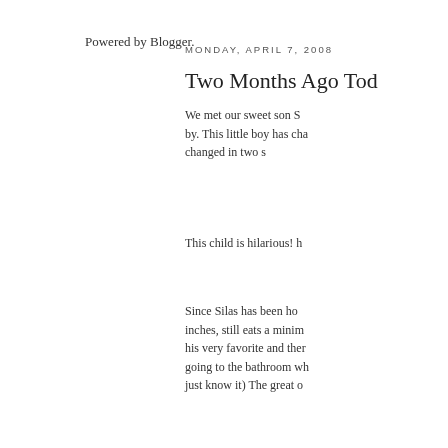Powered by Blogger.
MONDAY, APRIL 7, 2008
Two Months Ago Tod
We met our sweet son S by. This little boy has cha changed in two s
This child is hilarious! h
Since Silas has been ho inches, still eats a minim his very favorite and ther going to the bathroom wh just know it) The great o